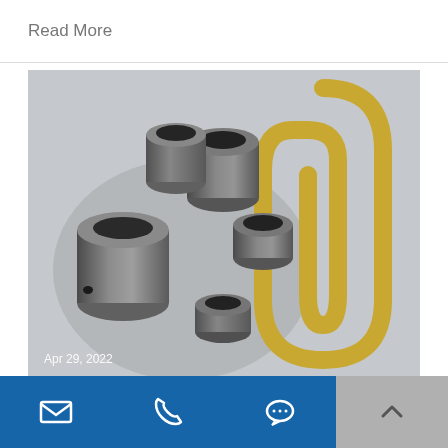Read More
[Figure (photo): Small metal cylindrical CNC machined parts (bushings/sleeves) next to a large gold-colored paper clip for size reference, on a light gray surface. Date overlay: Apr 29, 2022]
How to Maintain CNC Machining Tools?
Email | Phone | Chat | Scroll up